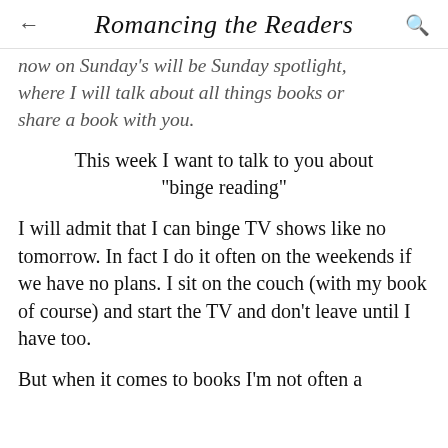Romancing the Readers
now on Sunday's will be Sunday spotlight, where I will talk about all things books or share a book with you.
This week I want to talk to you about "binge reading"
I will admit that I can binge TV shows like no tomorrow. In fact I do it often on the weekends if we have no plans. I sit on the couch (with my book of course) and start the TV and don't leave until I have too.
But when it comes to books I'm not often a